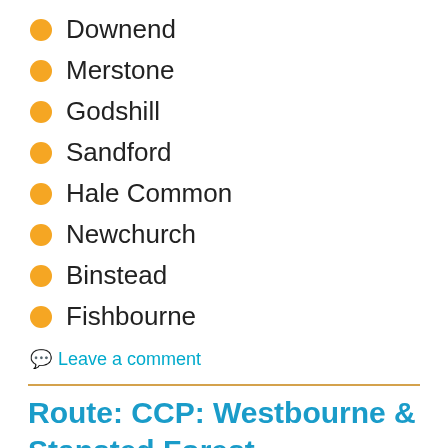Downend
Merstone
Godshill
Sandford
Hale Common
Newchurch
Binstead
Fishbourne
Leave a comment
Route: CCP: Westbourne & Stansted Forest
15 October 2019   Local   Andy Henderson
Approximate distance: 15 miles